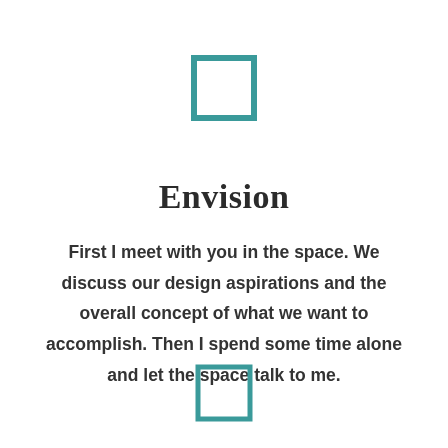[Figure (illustration): Teal/turquoise outlined square checkbox icon, top center of page]
Envision
First I meet with you in the space. We discuss our design aspirations and the overall concept of what we want to accomplish. Then I spend some time alone and let the space talk to me.
[Figure (illustration): Teal/turquoise outlined square checkbox icon, bottom center of page]